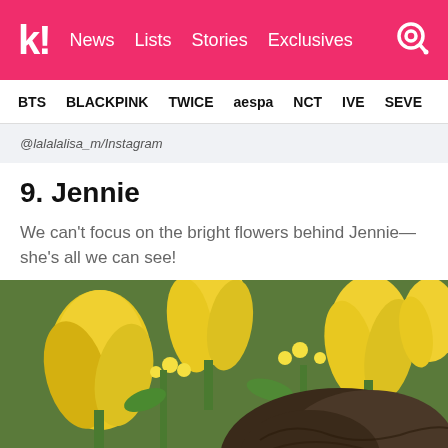k! News Lists Stories Exclusives [search]
BTS BLACKPINK TWICE aespa NCT IVE SEVE...
@lalalalisa_m/Instagram
9. Jennie
We can't focus on the bright flowers behind Jennie—she's all we can see!
[Figure (photo): Close-up photo of Jennie among bright yellow tulips and yellow flowers with green stems. Her dark hair is visible in the lower right portion of the image.]